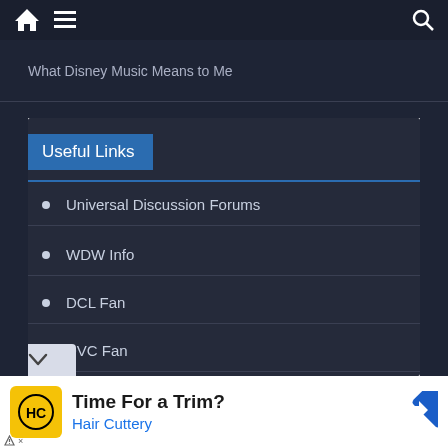What Disney Music Means to Me
Useful Links
Universal Discussion Forums
WDW Info
DCL Fan
DVC Fan
Book a Vacation
[Figure (other): Advertisement for Hair Cuttery with yellow logo showing HC letters and a turn arrow icon. Text reads: Time For a Trim? Hair Cuttery]